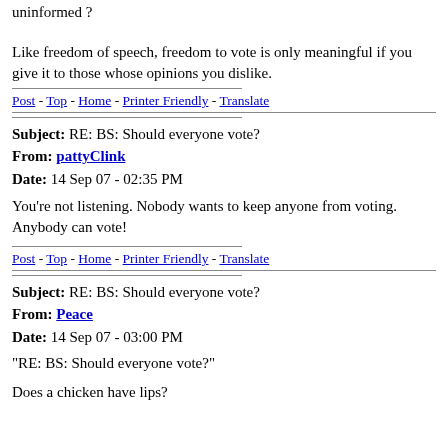uninformed ?
Like freedom of speech, freedom to vote is only meaningful if you give it to those whose opinions you dislike.
Post - Top - Home - Printer Friendly - Translate
Subject: RE: BS: Should everyone vote?
From: pattyClink
Date: 14 Sep 07 - 02:35 PM
You're not listening. Nobody wants to keep anyone from voting. Anybody can vote!
Post - Top - Home - Printer Friendly - Translate
Subject: RE: BS: Should everyone vote?
From: Peace
Date: 14 Sep 07 - 03:00 PM
"RE: BS: Should everyone vote?"
Does a chicken have lips?